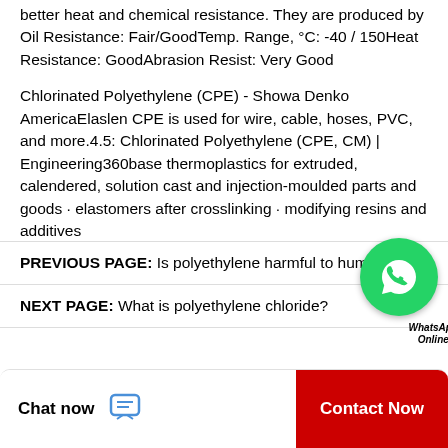better heat and chemical resistance. They are produced by Oil Resistance: Fair/GoodTemp. Range, °C: -40 / 150Heat Resistance: GoodAbrasion Resist: Very Good
Chlorinated Polyethylene (CPE) - Showa Denko AmericaElaslen CPE is used for wire, cable, hoses, PVC, and more.4.5: Chlorinated Polyethylene (CPE, CM) | Engineering360base thermoplastics for extruded, calendered, solution cast and injection-moulded parts and goods · elastomers after crosslinking · modifying resins and additives
PREVIOUS PAGE:  Is polyethylene harmful to humans?
NEXT PAGE:  What is polyethylene chloride?
[Figure (other): WhatsApp Online chat bubble icon (green circle with phone icon), with text 'WhatsApp Online' below]
Chat now
Contact Now